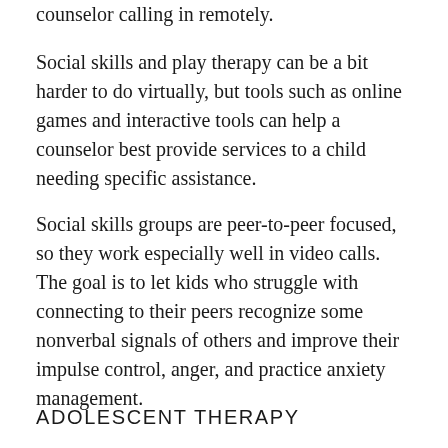counselor calling in remotely.
Social skills and play therapy can be a bit harder to do virtually, but tools such as online games and interactive tools can help a counselor best provide services to a child needing specific assistance.
Social skills groups are peer-to-peer focused, so they work especially well in video calls. The goal is to let kids who struggle with connecting to their peers recognize some nonverbal signals of others and improve their impulse control, anger, and practice anxiety management.
ADOLESCENT THERAPY